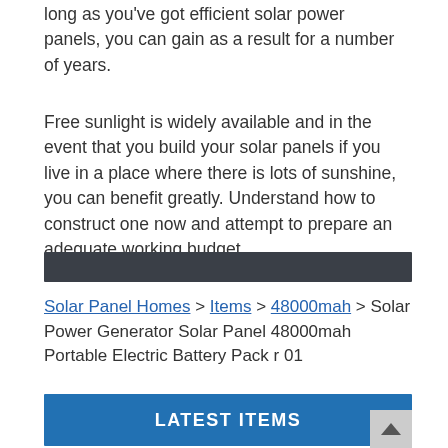long as you've got efficient solar power panels, you can gain as a result for a number of years.
Free sunlight is widely available and in the event that you build your solar panels if you live in a place where there is lots of sunshine, you can benefit greatly. Understand how to construct one now and attempt to prepare an adequate working budget.
[Figure (other): Dark horizontal bar divider]
Solar Panel Homes > Items > 48000mah > Solar Power Generator Solar Panel 48000mah Portable Electric Battery Pack r 01
LATEST ITEMS